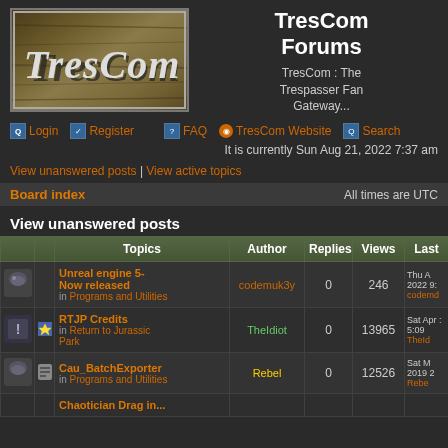[Figure (logo): TresCom logo - wooden sign with italic TresCom text]
TresCom Forums
TresCom : The Trespasser Fan Gateway...
Login | Register | FAQ | TresCom Website | Search
It is currently Sun Aug 21, 2022 7:37 am
View unanswered posts | View active topics
Board index    All times are UTC
View unanswered posts
|  |  | Topics | Author | Replies | Views | Last |
| --- | --- | --- | --- | --- | --- | --- |
| [icon] |  | Unreal engine 5- Now released
in Programs and Utilities | codemuk3y | 0 | 246 | Thu A 2022 9: codemd |
| [icon] | [star] | RTJP Credits
in Return to Jurassic Park | TheIdiot | 0 | 13965 | Sat Apr 5:09 TheId |
| [icon] | [attach] | Cau_BatchExporter
in Programs and Utilities | Rebel | 0 | 12526 | Sat M 2019 2 Rebe |
|  |  | Chaotician Drag in... |  |  |  |  |